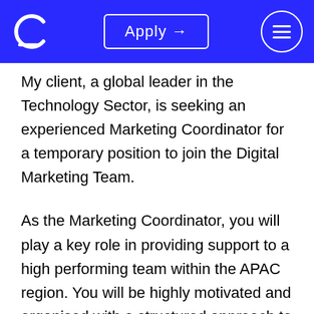C  Apply →  ≡
My client, a global leader in the Technology Sector, is seeking an experienced Marketing Coordinator for a temporary position to join the Digital Marketing Team.
As the Marketing Coordinator, you will play a key role in providing support to a high performing team within the APAC region. You will be highly motivated and organised with a structured approach to work where you can provide consistent support to the team in the day to day 'back-end' coordination of the Digital Marketing Strategy.